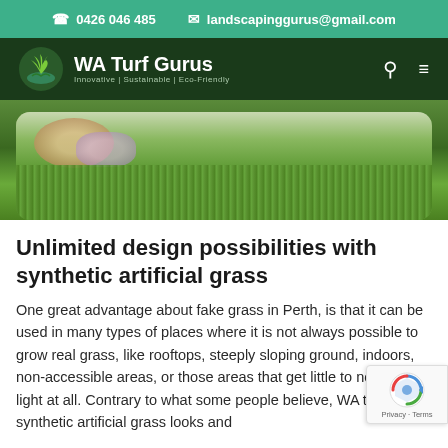☎ 0426 046 485   ✉ landscapinggurus@gmail.com
[Figure (logo): WA Turf Gurus logo with plant icon and tagline: Innovative | Sustainable | Eco-friendly]
[Figure (photo): Person lying on lush green grass lawn, hero image with rounded corners]
Unlimited design possibilities with synthetic artificial grass
One great advantage about fake grass in Perth, is that it can be used in many types of places where it is not always possible to grow real grass, like rooftops, steeply sloping ground, indoors, non-accessible areas, or those areas that get little to no natural light at all. Contrary to what some people believe, WA turf gurus synthetic artificial grass looks and